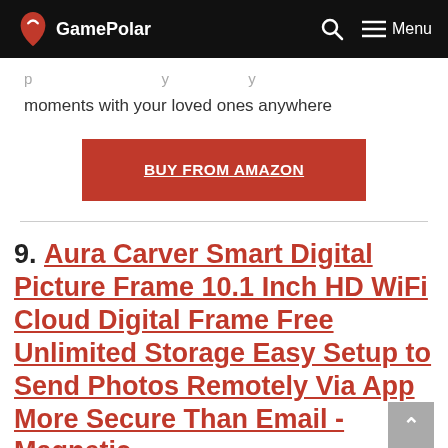GamePolar
moments with your loved ones anywhere
BUY FROM AMAZON
9. Aura Carver Smart Digital Picture Frame 10.1 Inch HD WiFi Cloud Digital Frame Free Unlimited Storage Easy Setup to Send Photos Remotely Via App More Secure Than Email -Magnetic